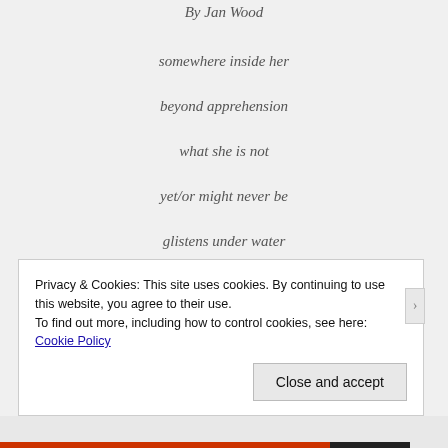By Jan Wood
somewhere inside her
beyond apprehension
what she is not
yet/or might never be
glistens under water
Privacy & Cookies: This site uses cookies. By continuing to use this website, you agree to their use.
To find out more, including how to control cookies, see here: Cookie Policy
Close and accept